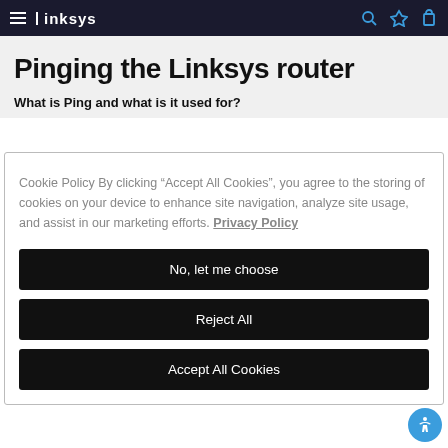Linksys
Pinging the Linksys router
What is Ping and what is it used for?
Cookie Policy By clicking “Accept All Cookies”, you agree to the storing of cookies on your device to enhance site navigation, analyze site usage, and assist in our marketing efforts. Privacy Policy
No, let me choose
Reject All
Accept All Cookies